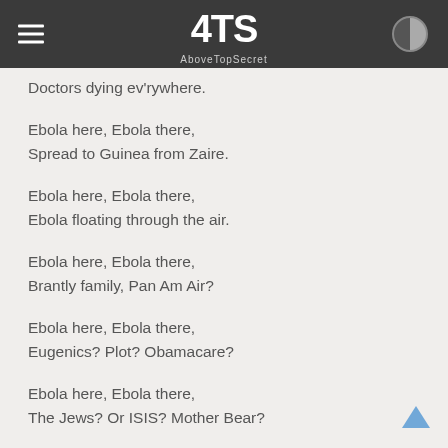ATS AboveTopSecret
Doctors dying ev'rywhere.
Ebola here, Ebola there,
Spread to Guinea from Zaire.
Ebola here, Ebola there,
Ebola floating through the air.
Ebola here, Ebola there,
Brantly family, Pan Am Air?
Ebola here, Ebola there,
Eugenics? Plot? Obamacare?
Ebola here, Ebola there,
The Jews? Or ISIS? Mother Bear?
Ebola here, Ebola there,
Or just a ploy to get you scared?